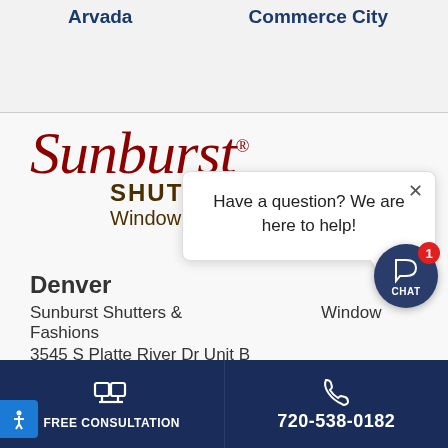Arvada
Commerce City
[Figure (logo): Sunburst Shutters & Window Fashions logo with script lettering]
Denver
Sunburst Shutters & Window Fashions
3545 S Platte River Dr Unit B
Have a question? We are here to help!
FREE CONSULTATION
720-538-0182